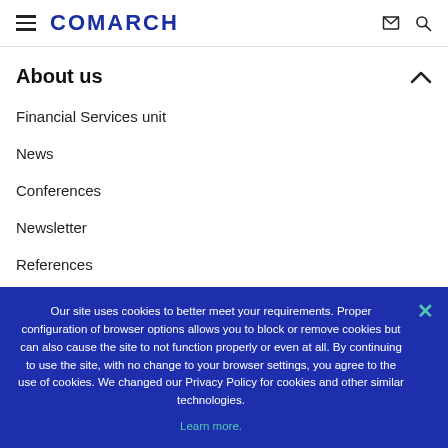COMARCH
About us
Financial Services unit
News
Conferences
Newsletter
References
Case studies
Our site uses cookies to better meet your requirements. Proper configuration of browser options allows you to block or remove cookies but can also cause the site to not function properly or even at all. By continuing to use the site, with no change to your browser settings, you agree to the use of cookies. We changed our Privacy Policy for cookies and other similar technologies. Learn more.